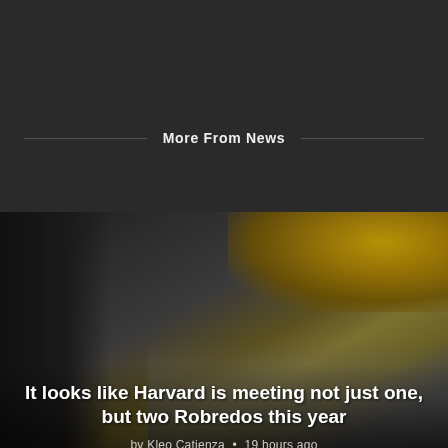More From News
[Figure (photo): A photo showing a person in the foreground (partially visible, wearing glasses and dark top), with yellow autumn foliage and what appears to be a Harvard Medical building stone wall in the background. The image serves as background for an article card.]
It looks like Harvard is meeting not just one, but two Robredos this year
by Kleo Catienza • 19 hours ago